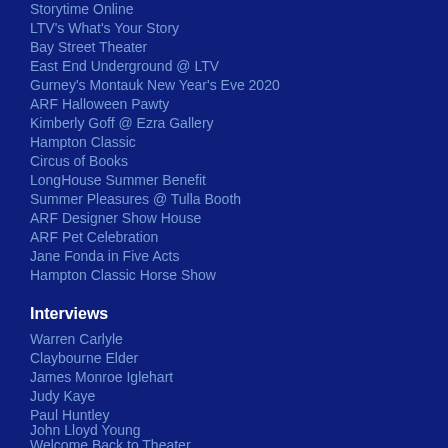Storytime Online
LTV's What's Your Story
Bay Street Theater
East End Underground @ LTV
Gurney's Montauk New Year's Eve 2020
ARF Halloween Pawty
Kimberly Goff @ Ezra Gallery
Hampton Classic
Circus of Books
LongHouse Summer Benefit
Summer Pleasures @ Tulla Booth
ARF Designer Show House
ARF Pet Celebration
Jane Fonda in Five Acts
Hampton Classic Horse Show
Interviews
Warren Carlyle
Claybourne Elder
James Monroe Iglehart
Judy Kaye
Paul Huntley
John Lloyd Young
Welcome Back to Theater
John Lloyd Young